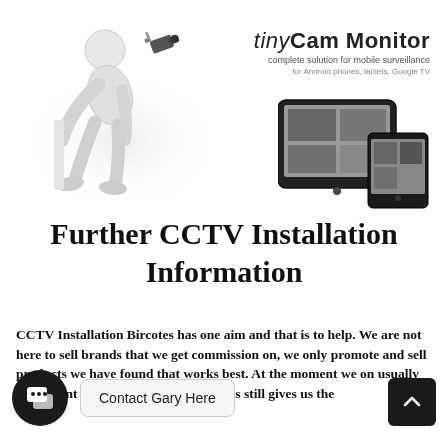[Figure (illustration): White 3D stick figure person leaning forward, with a security camera on a wall above, on a white background]
[Figure (logo): tinyCam Monitor logo with text: 'tinyCam Monitor', 'complete solution for mobile surveillance', 'for Android phones, tablets, Google TV']
[Figure (photo): Tablet and smartphone showing CCTV camera feeds on screen]
Further CCTV Installation Information
CCTV Installation Bircotes has one aim and that is to help. We are not here to sell brands that we get commission on, we only promote and sell products we have found that works best. At the moment we on usually equipment from 2 leading brands. This still gives us the
[Figure (other): Chat widget icon (dark circle with speech bubble icon) and 'Contact Gary Here' bubble, plus a dark scroll-to-top arrow button]